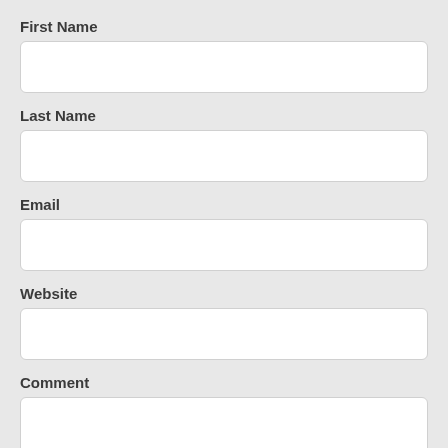First Name
[Figure (other): Empty text input field for First Name]
Last Name
[Figure (other): Empty text input field for Last Name]
Email
[Figure (other): Empty text input field for Email]
Website
[Figure (other): Empty text input field for Website]
Comment
[Figure (other): Empty textarea for Comment with scroll indicator showing a teal chevron-up arrow]